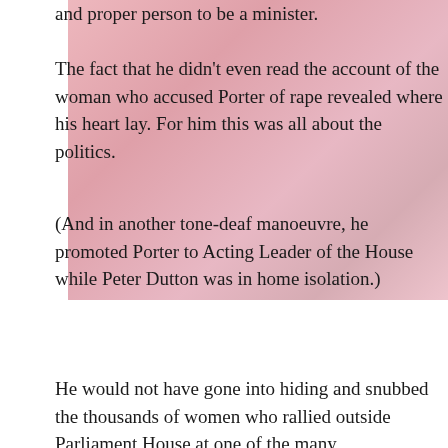and proper person to be a minister.
The fact that he didn't even read the account of the woman who accused Porter of rape revealed where his heart lay. For him this was all about the politics.
(And in another tone-deaf manoeuvre, he promoted Porter to Acting Leader of the House while Peter Dutton was in home isolation.)
He would not have gone into hiding and snubbed the thousands of women who rallied outside Parliament House at one of the many March4Justice protests across the nation – or given a leave pass to the Minister for Women Marise Payne. His spectacular misreading of the play cut deeply.